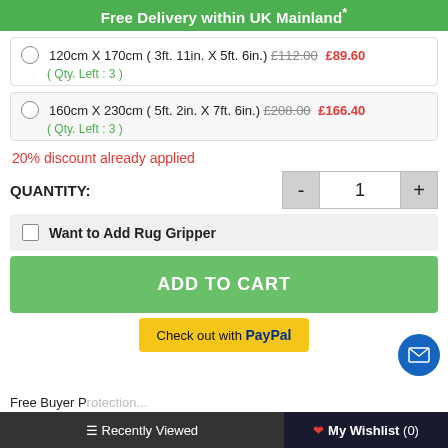Free Delivery within UK Mainland*
120cm X 170cm ( 3ft. 11in. X 5ft. 6in.)  £112.00  £89.60  ( Qty. Left : 3 )
160cm X 230cm ( 5ft. 2in. X 7ft. 6in.)  £208.00  £166.40  ( Qty. Left : 3 )
20% discount already applied
QUANTITY:  1
Want to Add Rug Gripper
ADD TO CART
Check out with PayPal
Free Buyer P...
≡ Recently Viewed    ❤ My Wishlist (0)